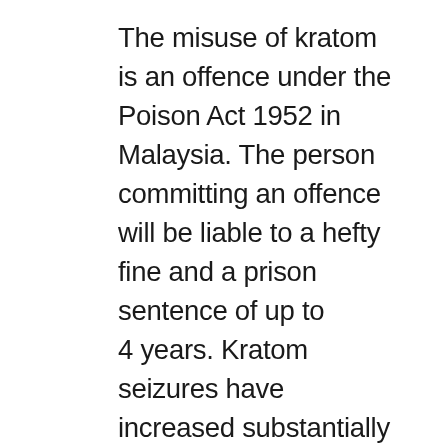The misuse of kratom is an offence under the Poison Act 1952 in Malaysia. The person committing an offence will be liable to a hefty fine and a prison sentence of up to 4 years. Kratom seizures have increased substantially in liquid and leaf form. In terms of demand-reduction efforts, we have put together prevention programmes (drug-free programmes, education institution programmes, community programmes and workplace programmes). We're focusing on areas where there's high use.  We have had positive results and reduce at-risk areas. We are planning to enhance specific legislation. At the moment, planting is not illegal, only use; the government will make it an offence to plant kratom as well except for medication and research purposes. The penalty for